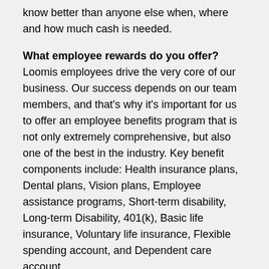know better than anyone else when, where and how much cash is needed.
What employee rewards do you offer? Loomis employees drive the very core of our business. Our success depends on our team members, and that's why it's important for us to offer an employee benefits program that is not only extremely comprehensive, but also one of the best in the industry. Key benefit components include: Health insurance plans, Dental plans, Vision plans, Employee assistance programs, Short-term disability, Long-term Disability, 401(k), Basic life insurance, Voluntary life insurance, Flexible spending account, and Dependent care account.
What makes your company a great place to work?  Our success is measured by the quality of our team, and that's why we look for people who bring a winning attitude, who respect their teammates, and who take pride in a job well done.